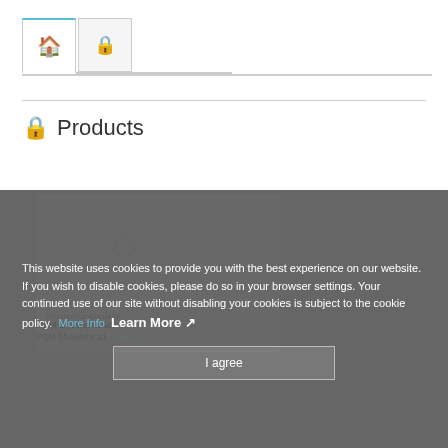[Figure (screenshot): Navigation tabs with home icon (active, highlighted in blue) and lock/bag icon tab]
Products
[Figure (screenshot): Cookie consent overlay on gray background. Text: This website uses cookies to provide you with the best experience on our website. If you wish to disable cookies, please do so in your browser settings. Your continued use of our site without disabling your cookies is subject to the cookie policy. More Info | Learn More [external link icon]. I agree button. Behind overlay: product card with PSM Showerhead listing.]
BEWARE - Special Warning Notice about ExpoGuide and FAIRGuide
With the ongoing solicitations, SEMI would like to continue to alert you with questionable professional practices perpetrated against exhibitors by FairGuide.com (Austria) and Expo Guide (Mexico), Event Fair - The Exhibitors' Guide with their